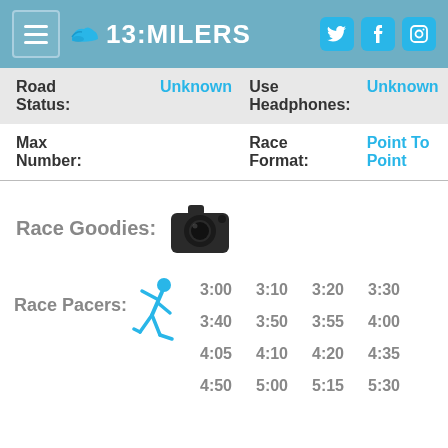13:MILERS
| Road Status: | Unknown | Use Headphones: | Unknown |
| --- | --- | --- | --- |
| Max Number: |  | Race Format: | Point To Point |
Race Goodies:
[Figure (illustration): Camera icon representing race goodies photo]
Race Pacers: 3:00 3:10 3:20 3:30 3:40 3:50 3:55 4:00 4:05 4:10 4:20 4:35 4:50 5:00 5:15 5:30
[Figure (illustration): Running person icon representing race pacers]